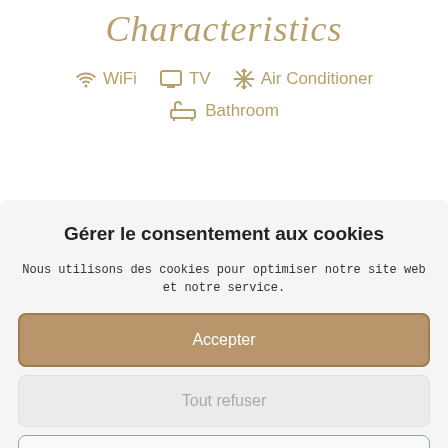Characteristics
WiFi   TV   Air Conditioner
Bathroom
Gérer le consentement aux cookies
Nous utilisons des cookies pour optimiser notre site web et notre service.
Accepter
Tout refuser
Préférences